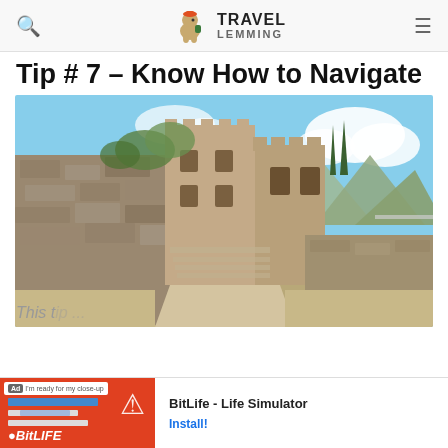Travel Lemming
Tip # 7 – Know How to Navigate
[Figure (photo): Ancient stone castle/fortress walls with a pathway leading through, surrounded by rocky hillside with sparse vegetation, cypress trees, and mountains in the background under a partly cloudy blue sky.]
This tip...
[Figure (screenshot): BitLife - Life Simulator advertisement banner with red background, Ad badge, and Install button.]